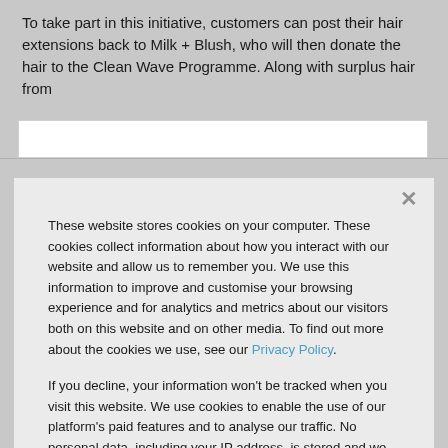To take part in this initiative, customers can post their hair extensions back to Milk + Blush, who will then donate the hair to the Clean Wave Programme. Along with surplus hair from
[Figure (screenshot): White input/search bar shown behind the cookie consent modal]
These website stores cookies on your computer. These cookies collect information about how you interact with our website and allow us to remember you. We use this information to improve and customise your browsing experience and for analytics and metrics about our visitors both on this website and on other media. To find out more about the cookies we use, see our Privacy Policy.

If you decline, your information won't be tracked when you visit this website. We use cookies to enable the use of our platform's paid features and to analyse our traffic. No personal data, including your IP address, is stored and we do not sell data to third parties.
Accept
Decline